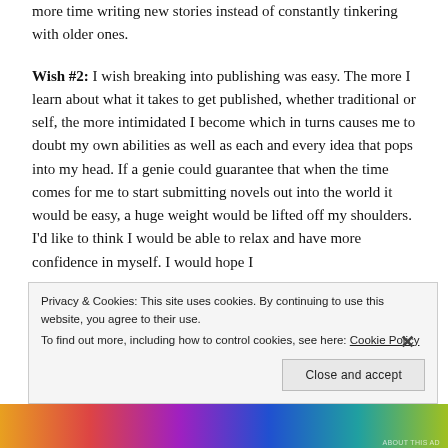more time writing new stories instead of constantly tinkering with older ones.
Wish #2: I wish breaking into publishing was easy. The more I learn about what it takes to get published, whether traditional or self, the more intimidated I become which in turns causes me to doubt my own abilities as well as each and every idea that pops into my head. If a genie could guarantee that when the time comes for me to start submitting novels out into the world it would be easy, a huge weight would be lifted off my shoulders. I'd like to think I would be able to relax and have more confidence in myself. I would hope I
Privacy & Cookies: This site uses cookies. By continuing to use this website, you agree to their use. To find out more, including how to control cookies, see here: Cookie Policy
Close and accept